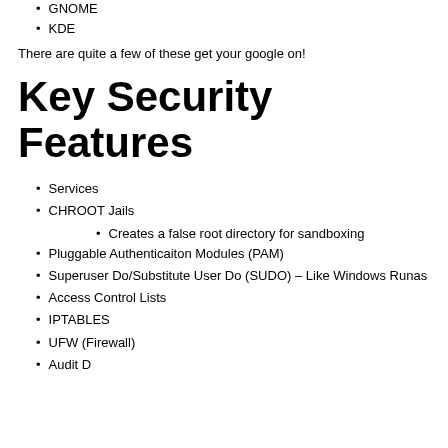GNOME
KDE
There are quite a few of these get your google on!
Key Security Features
Services
CHROOT Jails
Creates a false root directory for sandboxing
Pluggable Authenticaiton Modules (PAM)
Superuser Do/Substitute User Do (SUDO) – Like Windows Runas
Access Control Lists
IPTABLES
UFW (Firewall)
Audit D